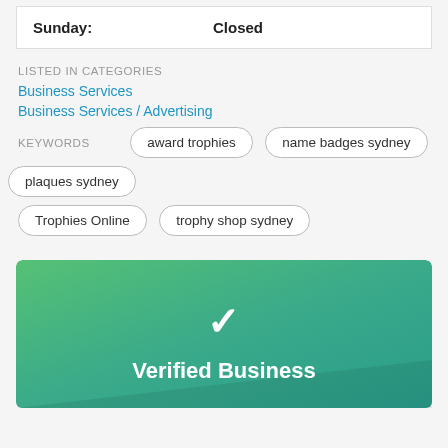| Day | Status |
| --- | --- |
| Sunday: | Closed |
LISTED IN CATEGORIES
Business Services
Business Services / Advertising
KEYWORDS
award trophies
name badges sydney
plaques sydney
Trophies Online
trophy shop sydney
[Figure (infographic): Green gradient banner with a white checkmark icon and 'Verified Business' text in white]